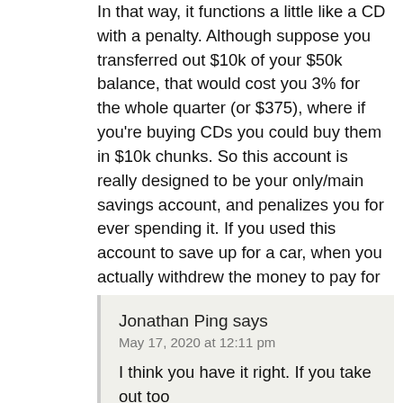In that way, it functions a little like a CD with a penalty. Although suppose you transferred out $10k of your $50k balance, that would cost you 3% for the whole quarter (or $375), where if you're buying CDs you could buy them in $10k chunks. So this account is really designed to be your only/main savings account, and penalizes you for ever spending it. If you used this account to save up for a car, when you actually withdrew the money to pay for the car, your interest rate would plummet for that quarter.
Overall, not worth it to me.
Reply
Jonathan Ping says
May 17, 2020 at 12:11 pm
I think you have it right. If you take out too